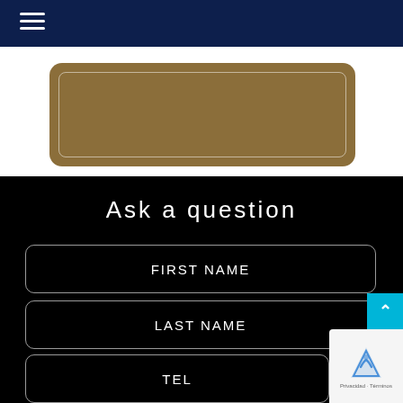[Figure (screenshot): Dark navy top navigation bar with hamburger menu icon (three horizontal white lines) on the left]
[Figure (illustration): Gold/tan rounded rectangle card with inner border outline, on white background]
Ask a question
FIRST NAME
LAST NAME
TEL